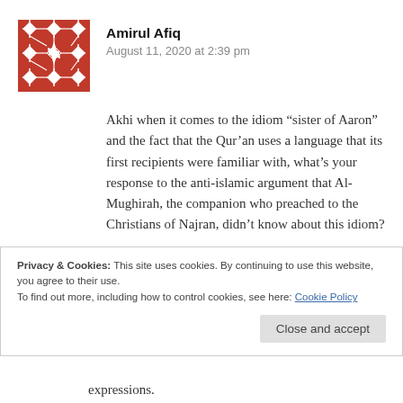[Figure (illustration): Red geometric patterned avatar icon with star/cross motif pattern]
Amirul Afiq
August 11, 2020 at 2:39 pm
Akhi when it comes to the idiom “sister of Aaron” and the fact that the Qur’an uses a language that its first recipients were familiar with, what’s your response to the anti-islamic argument that Al-Mughirah, the companion who preached to the Christians of Najran, didn’t know about this idiom?
Privacy & Cookies: This site uses cookies. By continuing to use this website, you agree to their use.
To find out more, including how to control cookies, see here: Cookie Policy
Close and accept
expressions.